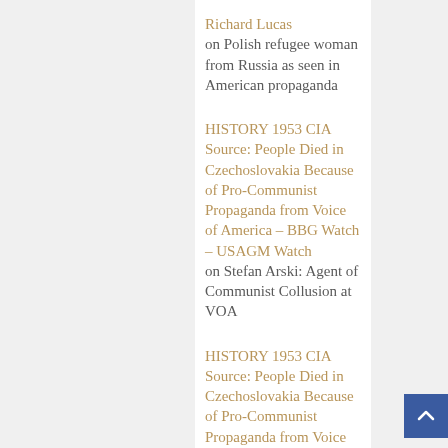Richard Lucas on Polish refugee woman from Russia as seen in American propaganda
HISTORY 1953 CIA Source: People Died in Czechoslovakia Because of Pro-Communist Propaganda from Voice of America – BBG Watch – USAGM Watch on Stefan Arski: Agent of Communist Collusion at VOA
HISTORY 1953 CIA Source: People Died in Czechoslovakia Because of Pro-Communist Propaganda from Voice of America – BBG Watch – USAGM Watch on